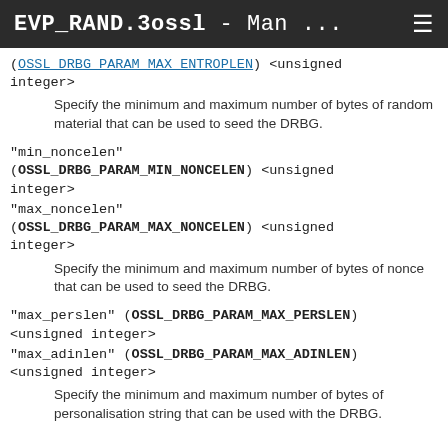EVP_RAND.3ossl - Man ... ☰
(OSSL_DRBG_PARAM_MAX_ENTROPLEN) <unsigned integer>
Specify the minimum and maximum number of bytes of random material that can be used to seed the DRBG.
"min_noncelen" (OSSL_DRBG_PARAM_MIN_NONCELEN) <unsigned integer>
"max_noncelen" (OSSL_DRBG_PARAM_MAX_NONCELEN) <unsigned integer>
Specify the minimum and maximum number of bytes of nonce that can be used to seed the DRBG.
"max_perslen" (OSSL_DRBG_PARAM_MAX_PERSLEN) <unsigned integer>
"max_adinlen" (OSSL_DRBG_PARAM_MAX_ADINLEN) <unsigned integer>
Specify the minimum and maximum number of bytes of personalisation string that can be used with the DRBG.